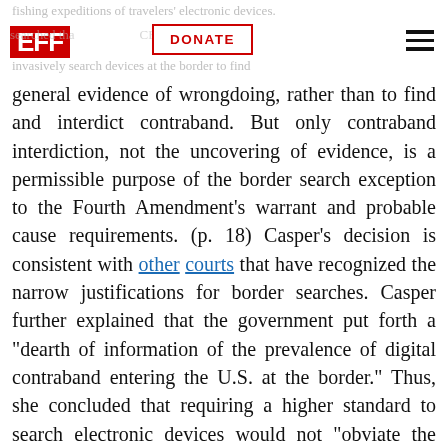EFF | DONATE
general evidence of wrongdoing, rather than to find and interdict contraband. But only contraband interdiction, not the uncovering of evidence, is a permissible purpose of the border search exception to the Fourth Amendment's warrant and probable cause requirements. (p. 18) Casper's decision is consistent with other courts that have recognized the narrow justifications for border searches. Casper further explained that the government put forth a “dearth of information of the prevalence of digital contraband entering the U.S. at the border.” Thus, she concluded that requiring a higher standard to search electronic devices would not “obviate the deterrent effect of the border search exception.” (p. 21)